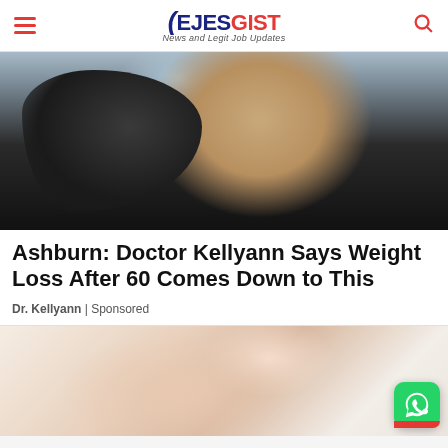EJESGIST - News and Legit Job Updates
[Figure (photo): Woman in black top seated on couch, resting chin on hand, smiling, TV show setting]
Ashburn: Doctor Kellyann Says Weight Loss After 60 Comes Down to This
Dr. Kellyann | Sponsored
[Figure (photo): Close-up of woman in white tank top with hand on chest; WhatsApp icon button in bottom right corner]